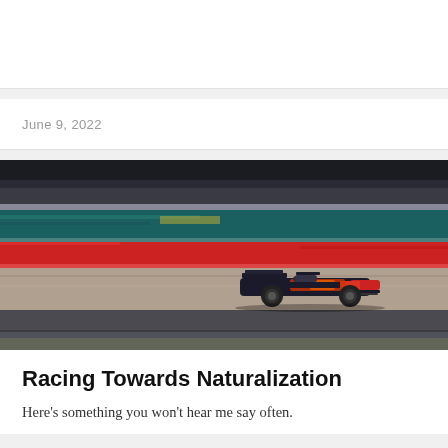June 9, 2022
[Figure (photo): A Red Bull Formula 1 racing car speeding along a race track with motion blur effect on the background showing red, green, and grey colored stands and barriers at what appears to be Silverstone circuit.]
Racing Towards Naturalization
Here's something you won't hear me say often.